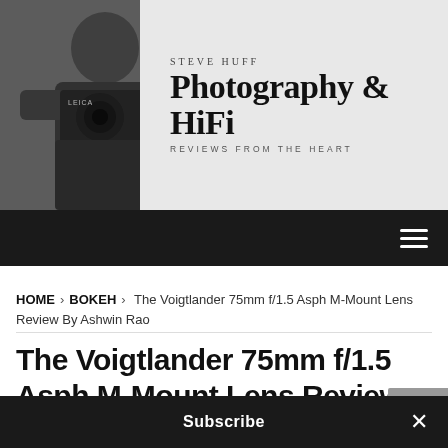[Figure (photo): Steve Huff Photography & HiFi website banner with black and white photo of a man holding a Leica camera, site name text overlay]
Steve Huff Photography & HiFi — Reviews From The Heart
HOME › BOKEH › The Voigtlander 75mm f/1.5 Asph M-Mount Lens Review By Ashwin Rao
The Voigtlander 75mm f/1.5 Asph M-Mount Lens Review By Ashwin Rao
August 11, 2019   13
Subscribe ×